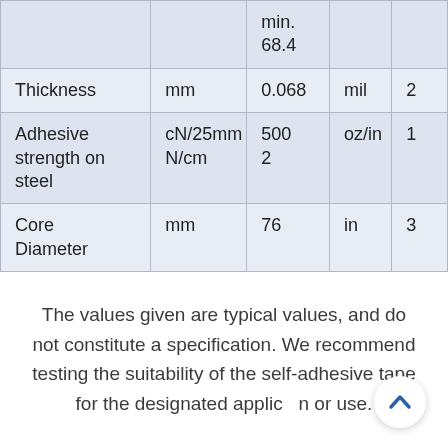| Property | Unit (SI) | Value (SI) | Unit (Imperial) | Value (Imperial) |
| --- | --- | --- | --- | --- |
|  |  | min.
68.4 |  |  |
| Thickness | mm | 0.068 | mil | 2 |
| Adhesive strength on steel | cN/25mm
N/cm | 500
2 | oz/in | 1 |
| Core Diameter | mm | 76 | in | 3 |
The values given are typical values, and do not constitute a specification. We recommend testing the suitability of the self-adhesive tape for the designated application or use.